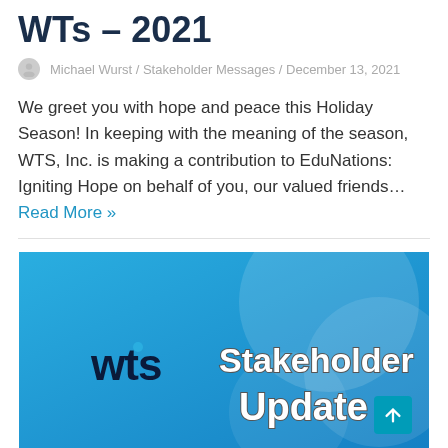WTs – 2021
Michael Wurst / Stakeholder Messages / December 13, 2021
We greet you with hope and peace this Holiday Season! In keeping with the meaning of the season, WTS, Inc. is making a contribution to EduNations: Igniting Hope on behalf of you, our valued friends… Read More »
[Figure (illustration): WTS Stakeholder Update banner image with blue gradient background, WTS logo on left, and 'Stakeholder Update' text in white with dark outline on right. A teal scroll-to-top button with upward arrow in the bottom right corner.]